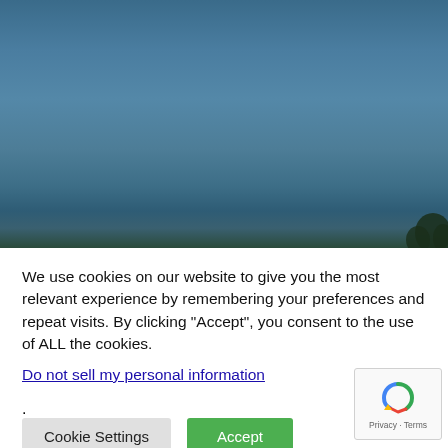[Figure (photo): Outdoor sky photograph showing a blue gradient sky with tree silhouettes visible at the bottom right corner]
We use cookies on our website to give you the most relevant experience by remembering your preferences and repeat visits. By clicking “Accept”, you consent to the use of ALL the cookies.
Do not sell my personal information.
Cookie Settings | Accept